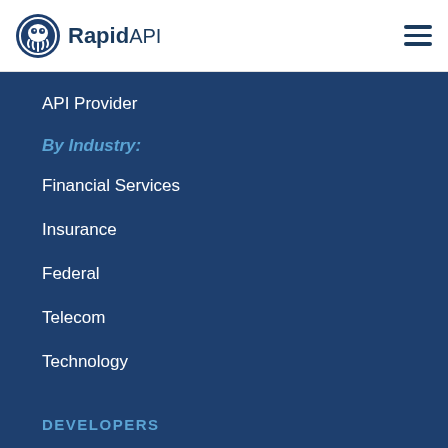RapidAPI
API Provider
By Industry:
Financial Services
Insurance
Federal
Telecom
Technology
DEVELOPERS
Learn
Guides
Courses
RESOURCES